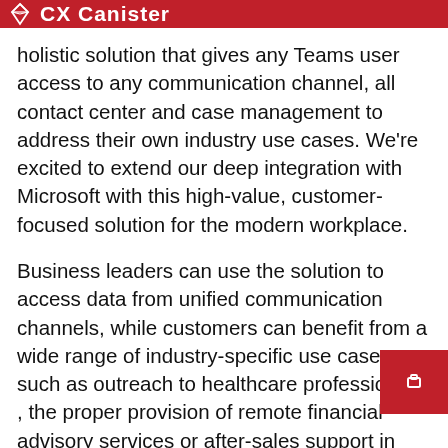CX Canister (partial header)
holistic solution that gives any Teams user access to any communication channel, all contact center and case management to address their own industry use cases. We’re excited to extend our deep integration with Microsoft with this high-value, customer-focused solution for the modern workplace.
Business leaders can use the solution to access data from unified communication channels, while customers can benefit from a wide range of industry-specific use cases, such as outreach to healthcare professionals. , the proper provision of remote financial advisory services or after-sales support in manufacturing. and retail.
“Solgari leverages Microsoft Azure, Microsoft 365